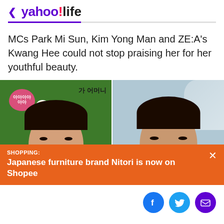< yahoo!life
MCs Park Mi Sun, Kim Yong Man and ZE:A's Kwang Hee could not stop praising her for her youthful beauty.
[Figure (photo): Two side-by-side photos of Korean women, with an orange advertisement overlay at the bottom reading: SHOPPING: Japanese furniture brand Nitori is now on Shopee]
SHOPPING: Japanese furniture brand Nitori is now on Shopee